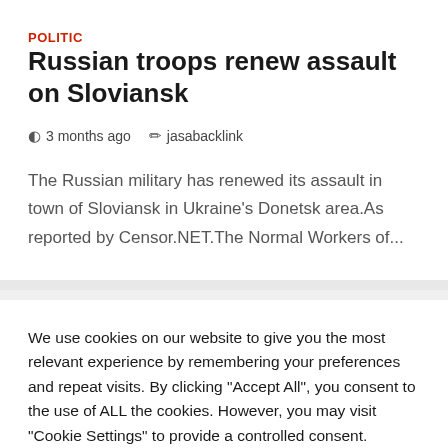POLITIC
Russian troops renew assault on Sloviansk
3 months ago   jasabacklink
The Russian military has renewed its assault in town of Sloviansk in Ukraine's Donetsk area.As reported by Censor.NET.The Normal Workers of...
We use cookies on our website to give you the most relevant experience by remembering your preferences and repeat visits. By clicking "Accept All", you consent to the use of ALL the cookies. However, you may visit "Cookie Settings" to provide a controlled consent.